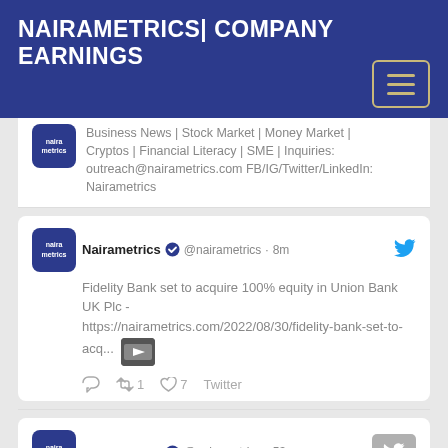NAIRAMETRICS| COMPANY EARNINGS
Business News | Stock Market | Money Market | Cryptos | Financial Literacy | SME | Inquiries: outreach@nairametrics.com FB/IG/Twitter/LinkedIn: Nairametrics
[Figure (screenshot): Tweet from Nairametrics @nairametrics 8m ago: Fidelity Bank set to acquire 100% equity in Union Bank UK Plc - https://nairametrics.com/2022/08/30/fidelity-bank-set-to-acq... with image thumbnail. Retweet 1, Like 7, Twitter]
[Figure (screenshot): Tweet from Nairametrics @nairametrics 53m ago: Mkobo MFB improves the lives of economically...]